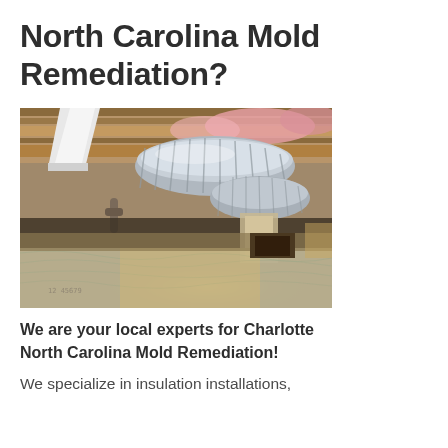North Carolina Mold Remediation?
[Figure (photo): Interior crawl space photo showing silver flexible HVAC ductwork running along the ceiling, wood joists, pink insulation, and a plastic vapor barrier covering the ground, with warm lighting illuminating the space]
We are your local experts for Charlotte North Carolina Mold Remediation!
We specialize in insulation installations,